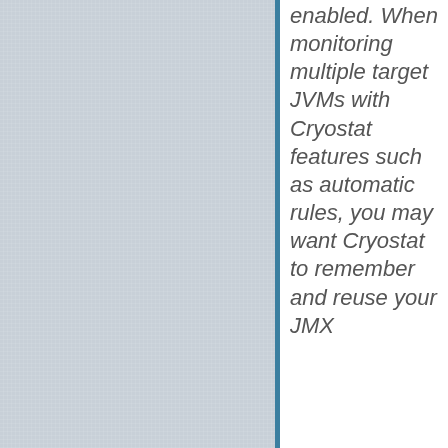[Figure (photo): Left portion of the page showing a light blue-gray linen or fabric texture background image.]
enabled. When monitoring multiple target JVMs with Cryostat features such as automatic rules, you may want Cryostat to remember and reuse your JMX